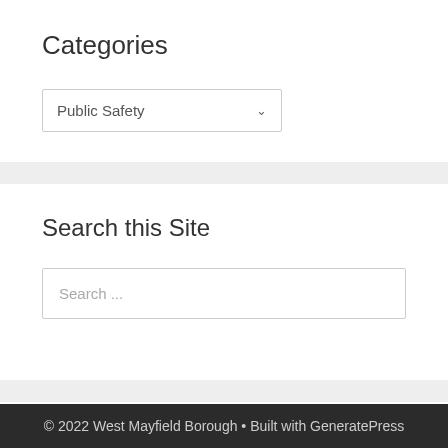Categories
[Figure (screenshot): Dropdown select box showing 'Public Safety' with a chevron arrow on the right]
Search this Site
[Figure (screenshot): Search input box with placeholder text 'Search ...']
© 2022 West Mayfield Borough • Built with GeneratePress